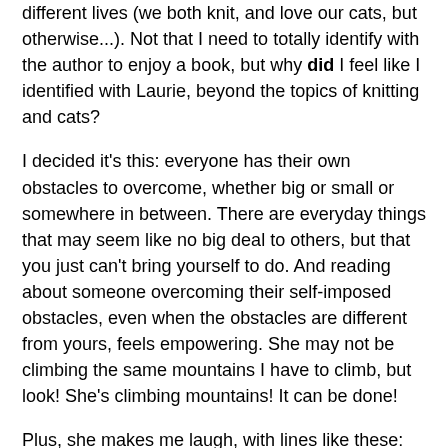different lives (we both knit, and love our cats, but otherwise...). Not that I need to totally identify with the author to enjoy a book, but why did I feel like I identified with Laurie, beyond the topics of knitting and cats?
I decided it's this: everyone has their own obstacles to overcome, whether big or small or somewhere in between. There are everyday things that may seem like no big deal to others, but that you just can't bring yourself to do. And reading about someone overcoming their self-imposed obstacles, even when the obstacles are different from yours, feels empowering. She may not be climbing the same mountains I have to climb, but look! She's climbing mountains! It can be done!
Plus, she makes me laugh, with lines like these:
Nothing makes you madder than trying to get all filled up with love and inspiration and being unable to do so because there is no parking.
It's amazing how denial works, but it does.
Knitting notes from someone who understands: